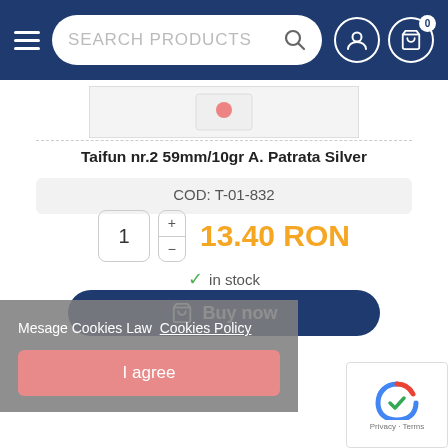SEARCH PRODUCTS
[Figure (screenshot): Product image thumbnail strip]
Taifun nr.2 59mm/10gr A. Patrata Silver
COD: T-01-832
13.40 RON
in stock
Buy now
Mesage Cookies Law Cookies Policy
I agree
Privacy · Terms